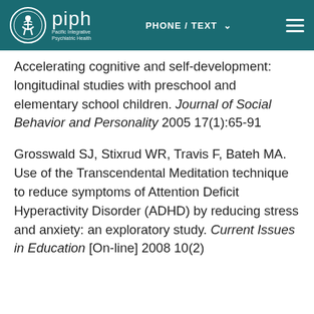piph Pacific Integrative Psychiatric Health | PHONE / TEXT
Accelerating cognitive and self-development: longitudinal studies with preschool and elementary school children. Journal of Social Behavior and Personality 2005 17(1):65-91
Grosswald SJ, Stixrud WR, Travis F, Bateh MA. Use of the Transcendental Meditation technique to reduce symptoms of Attention Deficit Hyperactivity Disorder (ADHD) by reducing stress and anxiety: an exploratory study. Current Issues in Education [On-line] 2008 10(2)